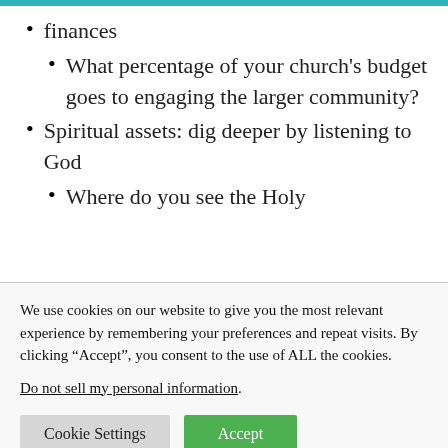finances
What percentage of your church's budget goes to engaging the larger community?
Spiritual assets: dig deeper by listening to God
Where do you see the Holy
We use cookies on our website to give you the most relevant experience by remembering your preferences and repeat visits. By clicking “Accept”, you consent to the use of ALL the cookies.
Do not sell my personal information.